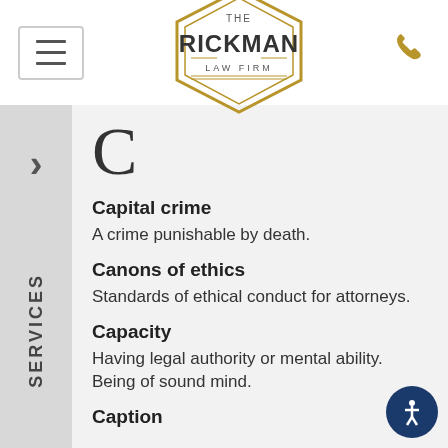[Figure (logo): The Rickman Law Firm hexagon logo with gold outline]
C
Capital crime
A crime punishable by death.
Canons of ethics
Standards of ethical conduct for attorneys.
Capacity
Having legal authority or mental ability. Being of sound mind.
Caption